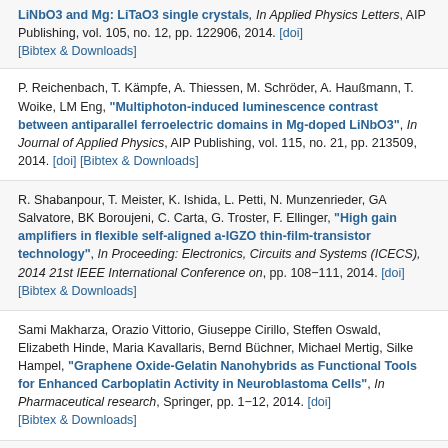LiNbO3 and Mg: LiTaO3 single crystals, In Applied Physics Letters, AIP Publishing, vol. 105, no. 12, pp. 122906, 2014. [doi] [Bibtex & Downloads]
P. Reichenbach, T. Kämpfe, A. Thiessen, M. Schröder, A. Haußmann, T. Woike, LM Eng, "Multiphoton-induced luminescence contrast between antiparallel ferroelectric domains in Mg-doped LiNbO3", In Journal of Applied Physics, AIP Publishing, vol. 115, no. 21, pp. 213509, 2014. [doi] [Bibtex & Downloads]
R. Shabanpour, T. Meister, K. Ishida, L. Petti, N. Munzenrieder, GA Salvatore, BK Boroujeni, C. Carta, G. Troster, F. Ellinger, "High gain amplifiers in flexible self-aligned a-IGZO thin-film-transistor technology", In Proceeding: Electronics, Circuits and Systems (ICECS), 2014 21st IEEE International Conference on, pp. 108–111, 2014. [doi] [Bibtex & Downloads]
Sami Makharza, Orazio Vittorio, Giuseppe Cirillo, Steffen Oswald, Elizabeth Hinde, Maria Kavallaris, Bernd Büchner, Michael Mertig, Silke Hampel, "Graphene Oxide-Gelatin Nanohybrids as Functional Tools for Enhanced Carboplatin Activity in Neuroblastoma Cells", In Pharmaceutical research, Springer, pp. 1–12, 2014. [doi] [Bibtex & Downloads]
Thomas Blaudeck, David Adner, Sascha Hermann, Heinrich Lang,